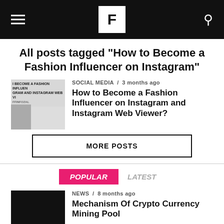F (logo) — site header navigation
All posts tagged "How to Become a Fashion Influencer on Instagram"
SOCIAL MEDIA / 3 months ago
How to Become a Fashion Influencer on Instagram and Instagram Web Viewer?
MORE POSTS
POPULAR  LATEST
NEWS / 8 months ago
Mechanism Of Crypto Currency Mining Pool